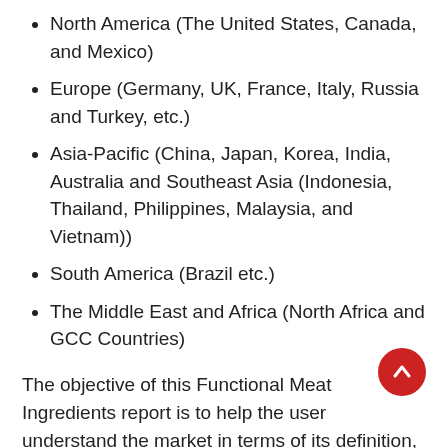North America (The United States, Canada, and Mexico)
Europe (Germany, UK, France, Italy, Russia and Turkey, etc.)
Asia-Pacific (China, Japan, Korea, India, Australia and Southeast Asia (Indonesia, Thailand, Philippines, Malaysia, and Vietnam))
South America (Brazil etc.)
The Middle East and Africa (North Africa and GCC Countries)
The objective of this Functional Meat Ingredients report is to help the user understand the market in terms of its definition, segmentation, market potential, influential trends, and the challenges that the market is facing with 10 major regions and 50